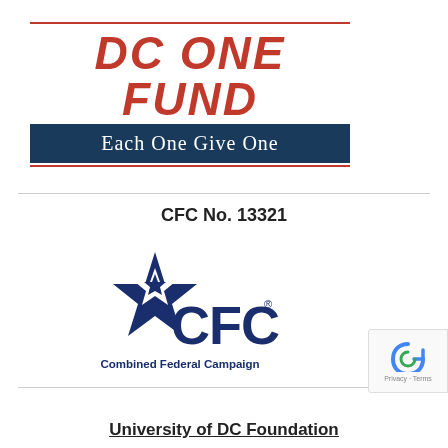[Figure (logo): DC One Fund logo with red 'DC ONE FUND' text in bold italic, red border lines, and dark navy blue tagline bar reading 'Each One Give One']
CFC No. 13321
[Figure (logo): Combined Federal Campaign (CFC) logo featuring a blue star with a smaller star cutout, bold 'CFC' text in navy blue with registered trademark symbol, and 'Combined Federal Campaign' text below]
University of DC Foundation